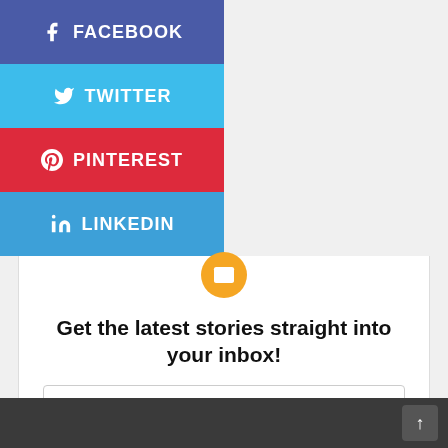[Figure (other): Facebook share button - blue rectangular button with Facebook 'f' icon and FACEBOOK text]
[Figure (other): Twitter share button - light blue rectangular button with Twitter bird icon and TWITTER text]
[Figure (other): Pinterest share button - red rectangular button with Pinterest 'p' icon and PINTEREST text]
[Figure (other): LinkedIn share button - blue rectangular button with LinkedIn 'in' icon and LINKEDIN text]
[Figure (other): Email newsletter signup widget with orange email icon, headline text, email input field, SIGN UP button, and anti-spam note]
Get the latest stories straight into your inbox!
Your email address
SIGN UP
Don't worry, we don't spam